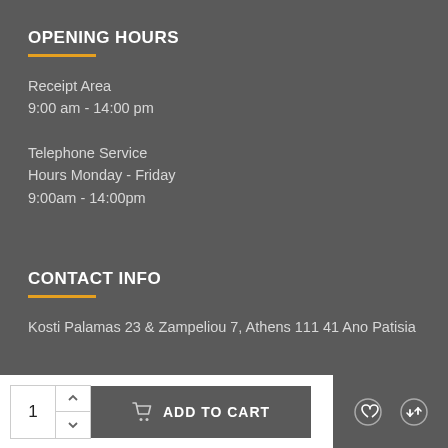OPENING HOURS
Receipt Area
9:00 am - 14:00 pm
Telephone Service
Hours Monday - Friday
9:00am - 14:00pm
CONTACT INFO
Kosti Palamas 23 & Zampeliou 7, Athens 111 41 Ano Patisia
[Figure (screenshot): Bottom navigation bar with quantity selector showing 1, ADD TO CART button, heart/wishlist icon, and compare icon]